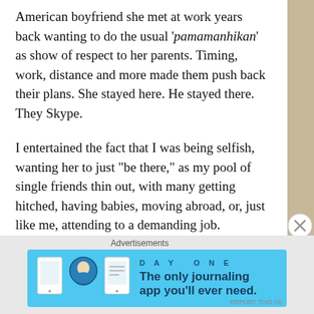American boyfriend she met at work years back wanting to do the usual ‘pamamanhikan’ as show of respect to her parents. Timing, work, distance and more made them push back their plans. She stayed here. He stayed there. They Skype.
I entertained the fact that I was being selfish, wanting her to just “be there,” as my pool of single friends thin out, with many getting hitched, having babies, moving abroad, or, just like me, attending to a demanding job.
She went on to give details about their plans. They’ll do a no-frills wedding next month, she leaves work by mid-2013, and off they go to the Muslim world to re-start their life together.
[Figure (infographic): Day One journaling app advertisement banner with blue background, app icons, and tagline 'The only journaling app you’ll ever need.']